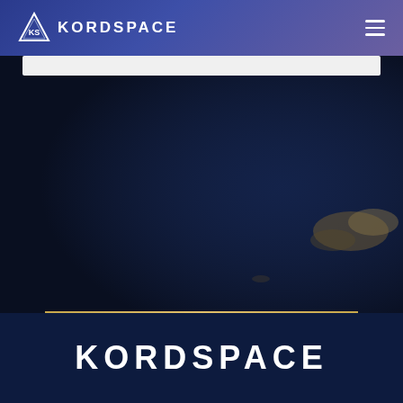KORDSPACE
[Figure (photo): Dark night sky or aerial photo with faint landmass or clouds visible in lower right area, deep dark navy blue background]
KORDSPACE